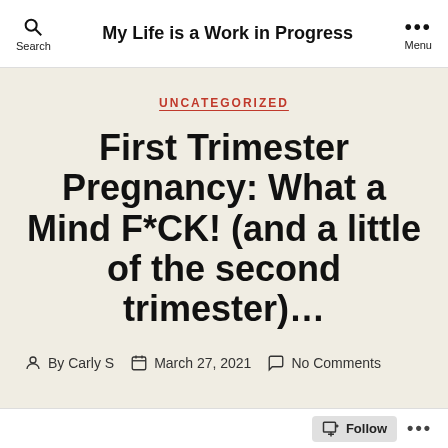My Life is a Work in Progress
UNCATEGORIZED
First Trimester Pregnancy: What a Mind F*CK! (and a little of the second trimester)…
By Carly S   March 27, 2021   No Comments
Follow